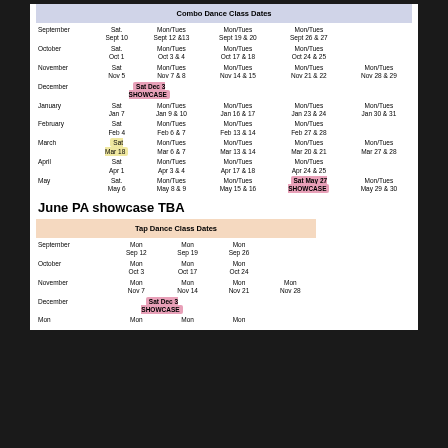| Combo Dance Class Dates |
| --- |
| September | Sat.
Sept 10 | Mon/Tues
Sept 12 & 13 | Mon/Tues
Sept 19 & 20 | Mon/Tues
Sept 26 & 27 |
| October | Sat.
Oct 1 | Mon/Tues
Oct 3 & 4 | Mon/Tues
Oct 17 & 18 | Mon/Tues
Oct 24 & 25 |
| November | Sat
Nov 5 | Mon/Tues
Nov 7 & 8 | Mon/Tues
Nov 14 & 15 | Mon/Tues
Nov 21 & 22 | Mon/Tues
Nov 28 & 29 |
| December | Sat Dec 3 SHOWCASE |  |  |  |  |
| January | Sat
Jan 7 | Mon/Tues
Jan 9 & 10 | Mon/Tues
Jan 16 & 17 | Mon/Tues
Jan 23 & 24 | Mon/Tues
Jan 30 & 31 |
| February | Sat
Feb 4 | Mon/Tues
Feb 6 & 7 | Mon/Tues
Feb 13 & 14 | Mon/Tues
Feb 27 & 28 |
| March | Sat Mar 18 (highlight) | Mon/Tues
Mar 6 & 7 | Mon/Tues
Mar 13 & 14 | Mon/Tues
Mar 20 & 21 | Mon/Tues
Mar 27 & 28 |
| April | Sat
Apr 1 | Mon/Tues
Apr 3 & 4 | Mon/Tues
Apr 17 & 18 | Mon/Tues
Apr 24 & 25 |
| May | Sat.
May 6 | Mon/Tues
May 8 & 9 | Mon/Tues
May 15 & 16 | Sat May 27 SHOWCASE | Mon/Tues
May 29 & 30 |
June PA showcase TBA
| Tap Dance Class Dates |
| --- |
| September | Mon
Sep 12 | Mon
Sep 19 | Mon
Sep 26 |
| October | Mon
Oct 3 | Mon
Oct 17 | Mon
Oct 24 |
| November | Mon
Nov 7 | Mon
Nov 14 | Mon
Nov 21 | Mon
Nov 28 |
| December | Sat Dec 3 SHOWCASE |  |  |  |